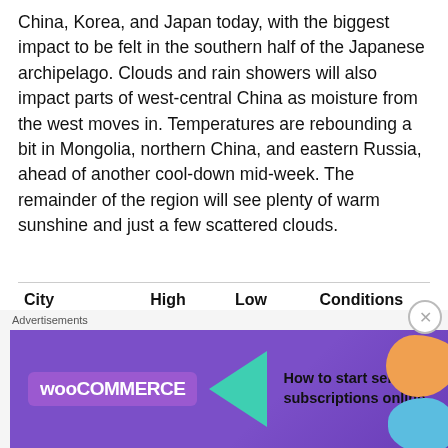China, Korea, and Japan today, with the biggest impact to be felt in the southern half of the Japanese archipelago. Clouds and rain showers will also impact parts of west-central China as moisture from the west moves in. Temperatures are rebounding a bit in Mongolia, northern China, and eastern Russia, ahead of another cool-down mid-week. The remainder of the region will see plenty of warm sunshine and just a few scattered clouds.
| City | High
Temp C
(F) | Low
Temp C
(F) | Conditions |
| --- | --- | --- | --- |
| Ulaanbaatar | 9 (48) | 6 (21) | Fair |